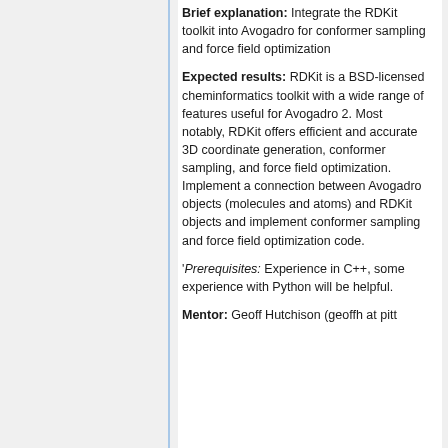Brief explanation: Integrate the RDKit toolkit into Avogadro for conformer sampling and force field optimization
Expected results: RDKit is a BSD-licensed cheminformatics toolkit with a wide range of features useful for Avogadro 2. Most notably, RDKit offers efficient and accurate 3D coordinate generation, conformer sampling, and force field optimization. Implement a connection between Avogadro objects (molecules and atoms) and RDKit objects and implement conformer sampling and force field optimization code.
'Prerequisites: Experience in C++, some experience with Python will be helpful.
Mentor: Geoff Hutchison (geoffh at pitt ...